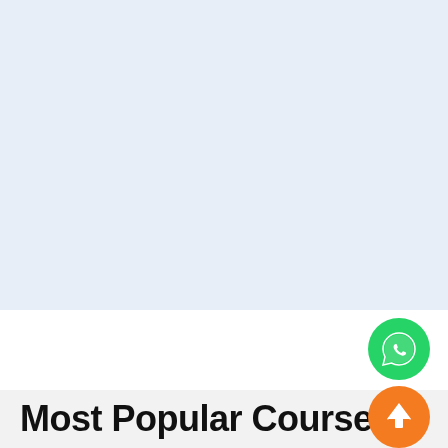[Figure (other): Light blue background section occupying the top ~70% of the page]
[Figure (other): WhatsApp floating action button — green circle with white WhatsApp phone/speech-bubble icon]
[Figure (other): Scroll-to-top floating action button — orange circle with white upward arrow icon]
Most Popular Courses